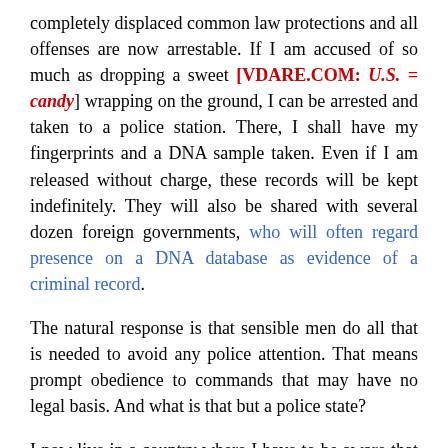completely displaced common law protections and all offenses are now arrestable. If I am accused of so much as dropping a sweet [VDARE.COM: U.S. = candy] wrapping on the ground, I can be arrested and taken to a police station. There, I shall have my fingerprints and a DNA sample taken. Even if I am released without charge, these records will be kept indefinitely. They will also be shared with several dozen foreign governments, who will often regard presence on a DNA database as evidence of a criminal record.
The natural response is that sensible men do all that is needed to avoid any police attention. That means prompt obedience to commands that may have no legal basis. And what is that but a police state?
I now live in a country where I have to be aware that private meetings and even private conversations are subject to paid informers and can lead to prosecution and, as far as I can see,